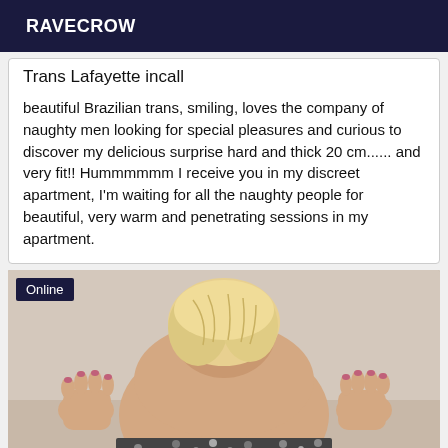RAVECROW
Trans Lafayette incall
beautiful Brazilian trans, smiling, loves the company of naughty men looking for special pleasures and curious to discover my delicious surprise hard and thick 20 cm...... and very fit!! Hummmmmm I receive you in my discreet apartment, I'm waiting for all the naughty people for beautiful, very warm and penetrating sessions in my apartment.
[Figure (photo): Photo of a person viewed from behind, blonde hair, wearing a patterned garment, with hands visible on either side. 'Online' badge overlay in top-left corner.]